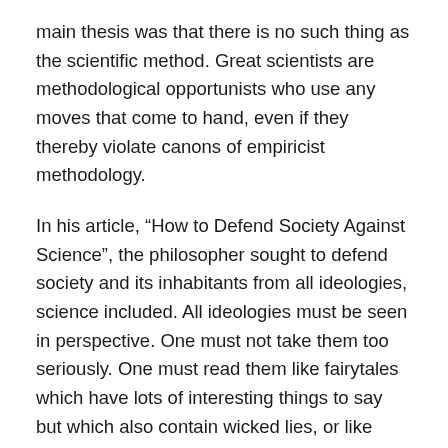main thesis was that there is no such thing as the scientific method. Great scientists are methodological opportunists who use any moves that come to hand, even if they thereby violate canons of empiricist methodology.
In his article, “How to Defend Society Against Science”, the philosopher sought to defend society and its inhabitants from all ideologies, science included. All ideologies must be seen in perspective. One must not take them too seriously. One must read them like fairytales which have lots of interesting things to say but which also contain wicked lies, or like ethical prescriptions which may be useful rules of thumb but which are deadly when followed to the letter.
Now, is this not a strange and ridiculous attitude? Science, surely, was always in the forefront of the fight against authoritarianism and superstition. It is to science